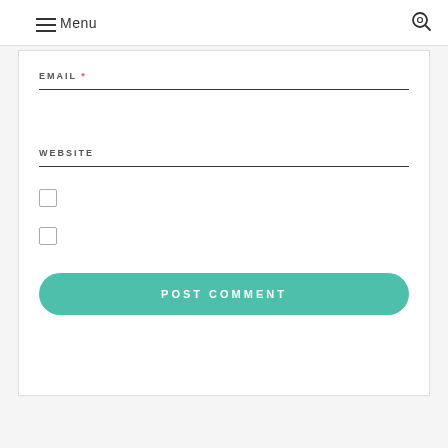Menu
EMAIL *
WEBSITE
POST COMMENT